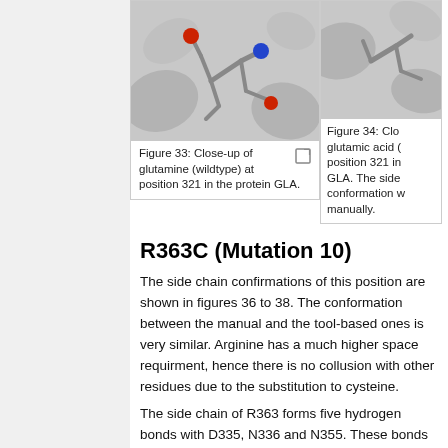[Figure (photo): Close-up molecular rendering of glutamine (wildtype) at position 321 in the protein GLA, showing gray stick structure with red oxygen atoms and blue nitrogen atom.]
Figure 33: Close-up of glutamine (wildtype) at position 321 in the protein GLA.
[Figure (photo): Partial close-up of glutamic acid at position 321 in the protein GLA, partially cropped on the right side of the page.]
Figure 34: Close-up of glutamic acid at position 321 in the protein GLA. The side chain conformation was set manually.
R363C (Mutation 10)
The side chain confirmations of this position are shown in figures 36 to 38. The conformation between the manual and the tool-based ones is very similar. Arginine has a much higher space requirment, hence there is no collusion with other residues due to the substitution to cysteine.
The side chain of R363 forms five hydrogen bonds with D335, N336 and N355. These bonds are all lost due to the substitution to cysteine. The backbone of R363 establishes